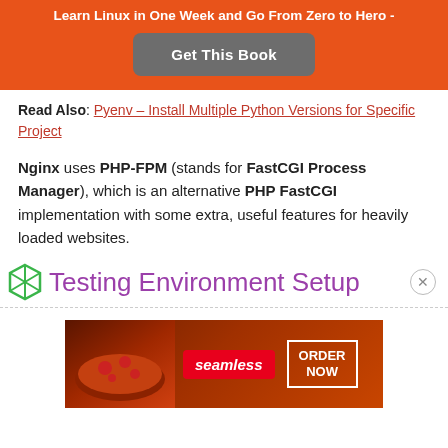Learn Linux in One Week and Go From Zero to Hero -
Get This Book
Read Also: Pyenv – Install Multiple Python Versions for Specific Project
Nginx uses PHP-FPM (stands for FastCGI Process Manager), which is an alternative PHP FastCGI implementation with some extra, useful features for heavily loaded websites.
Testing Environment Setup
[Figure (other): Seamless food delivery advertisement banner with pizza image, seamless logo and ORDER NOW button]